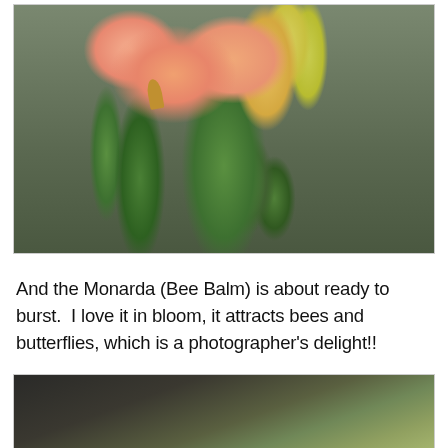[Figure (photo): Close-up photograph of a pink/salmon daylily flower in bloom with green buds and stems, and yellow-green buds visible on the right side, against a blurred green background.]
And the Monarda (Bee Balm) is about ready to burst.  I love it in bloom, it attracts bees and butterflies, which is a photographer's delight!!
[Figure (photo): Partially visible photograph showing a dark blurred background with green foliage, likely showing Monarda (Bee Balm) plant buds or foliage.]